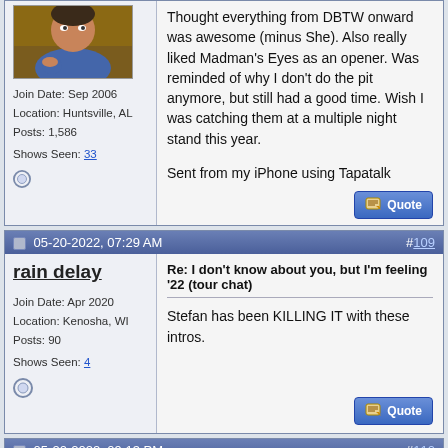[Figure (screenshot): Forum thread page showing multiple posts. Top partial post shows a user avatar (man in blue shirt), user info (Join Date Sep 2006, Location Huntsville AL, Posts 1586, Shows Seen 33), and post text about DBTW show. Second post by 'rain delay' dated 05-20-2022 07:29 AM (#109) with user info (Join Date Apr 2020, Location Kenosha WI, Posts 90, Shows Seen 4) and text 'Stefan has been KILLING IT with these intros.' Bottom partial post header dated 05-20-2022 09:13 PM (#110).]